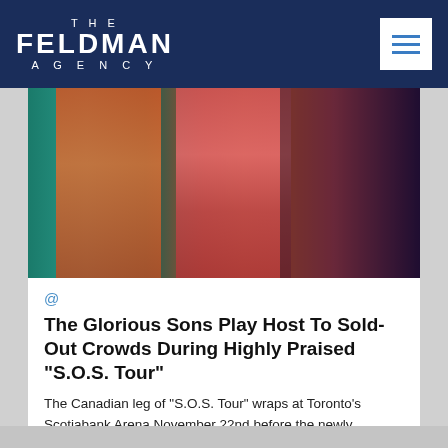THE FELDMAN AGENCY
[Figure (photo): Concert photo showing performers on stage with colorful lighting; one in orange tracksuit, one in red/pink pants, crowd visible in background]
@
The Glorious Sons Play Host To Sold-Out Crowds During Highly Praised "S.O.S. Tour"
The Canadian leg of "S.O.S. Tour" wraps at Toronto's Scotiabank Arena November 22nd before the newly announced 2019 U.S. leg kicks off in February. Read » more